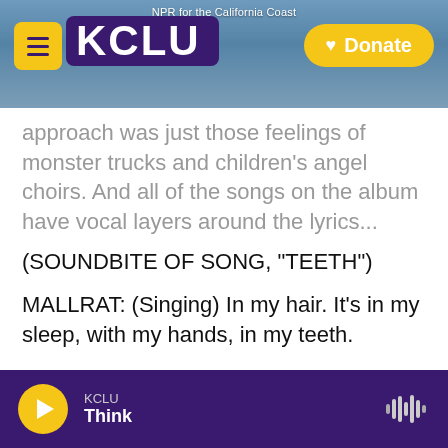[Figure (screenshot): KCLU NPR website header with logo, hamburger menu, and Donate button over a coastal photo background]
approach was just those feelings of monster trucks and children's angel choirs. And all of the songs on the album have vocal layers around the lyrics...
(SOUNDBITE OF SONG, "TEETH")
MALLRAT: (Singing) In my hair. It's in my sleep, with my hands, in my teeth.
SHAW: ...You know, whether that's a hum hidden beneath the guitar, or a chopped-up vocal in the drop.
KCLU Think